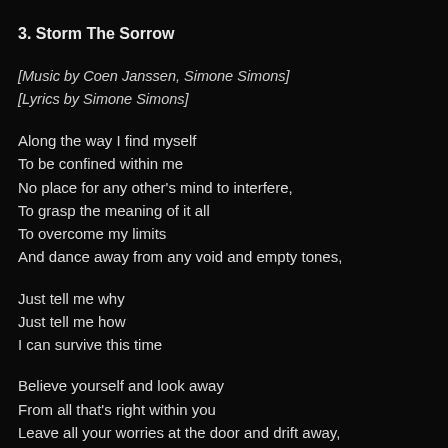3. Storm The Sorrow
[Music by Coen Janssen, Simone Simons]
[Lyrics by Simone Simons]
Along the way I find myself
To be confined within me
No place for any other's mind to interfere,
To grasp the meaning of it all
To overcome my limits
And dance away from any void and empty tones,
Just tell me why
Just tell me how
I can survive this time
Believe yourself and look away
From all that's right within you
Leave all your worries at the door and drift away,
I've tried to peer into the core